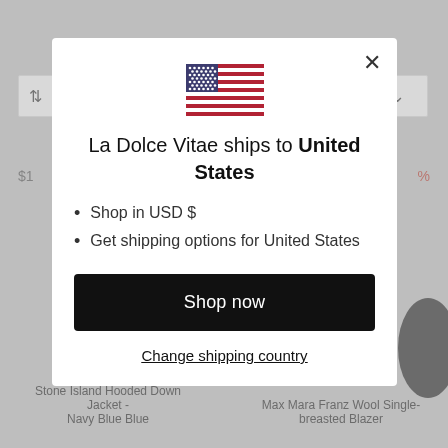[Figure (screenshot): E-commerce website background showing a filter bar, product prices, and two product titles: Stone Island Hooded Down Jacket - Navy Blue Blue, and Max Mara Franz Wool Single-breasted Blazer. A modal dialog overlays the page.]
[Figure (illustration): US flag emoji/icon displayed at the top of the modal dialog]
La Dolce Vitae ships to United States
Shop in USD $
Get shipping options for United States
Shop now
Change shipping country